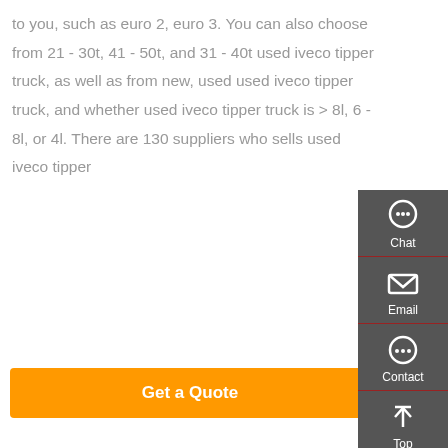to you, such as euro 2, euro 3. You can also choose from 21 - 30t, 41 - 50t, and 31 - 40t used iveco tipper truck, as well as from new, used used iveco tipper truck, and whether used iveco tipper truck is > 8l, 6 - 8l, or 4l. There are 130 suppliers who sells used iveco tipper
[Figure (screenshot): Orange button labeled 'Get a Quote']
[Figure (screenshot): Dark sidebar with Chat, Email, Contact, and Top icons]
[Figure (photo): Orange Sany mining/heavy truck]
Sany Mining Truck - Sany SKT90MT 60 Ton Off-Highway Mining